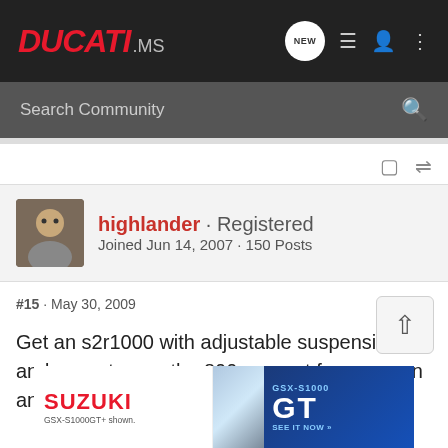DUCATI.MS
Search Community
highlander · Registered
Joined Jun 14, 2007 · 150 Posts
#15 · May 30, 2009
Get an s2r1000 with adjustable suspension and mass torque the 800 was cut for a reason and dry clutch
[Figure (screenshot): Suzuki GSX-S1000 GT advertisement banner at bottom of page]